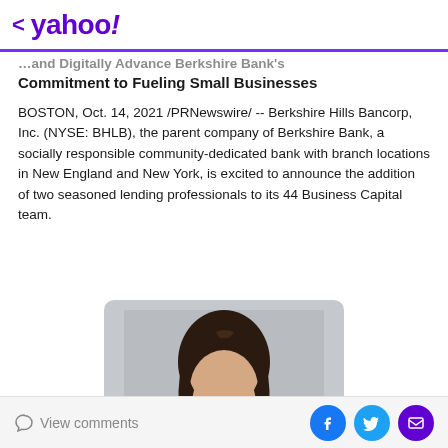< yahoo!
…and Digitally Advance Berkshire Bank's Commitment to Fueling Small Businesses
BOSTON, Oct. 14, 2021 /PRNewswire/ -- Berkshire Hills Bancorp, Inc. (NYSE: BHLB), the parent company of Berkshire Bank, a socially responsible community-dedicated bank with branch locations in New England and New York, is excited to announce the addition of two seasoned lending professionals to its 44 Business Capital team.
[Figure (photo): Professional headshot photo of a person with dark hair against a gray background]
View comments